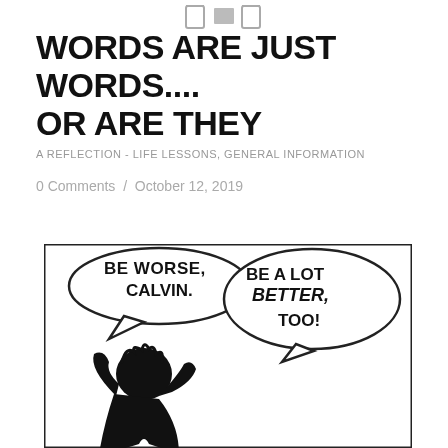[Figure (illustration): Header icons: person/document icons at top center of page]
WORDS ARE JUST WORDS.... OR ARE THEY
A REFLECTION - LIFE LESSONS, GENERAL INFORMATION
0 Comments / October 12, 2019
[Figure (illustration): A Calvin and Hobbes comic strip panel (black and white). Speech bubbles read: 'BE WORSE, CALVIN.' and 'BE A LOT BETTER, TOO!' A figure is shown at the bottom of the panel.]